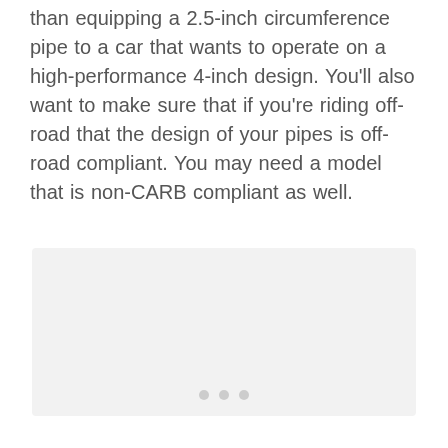than equipping a 2.5-inch circumference pipe to a car that wants to operate on a high-performance 4-inch design. You'll also want to make sure that if you're riding off-road that the design of your pipes is off-road compliant. You may need a model that is non-CARB compliant as well.
[Figure (other): Light gray rectangular image placeholder area]